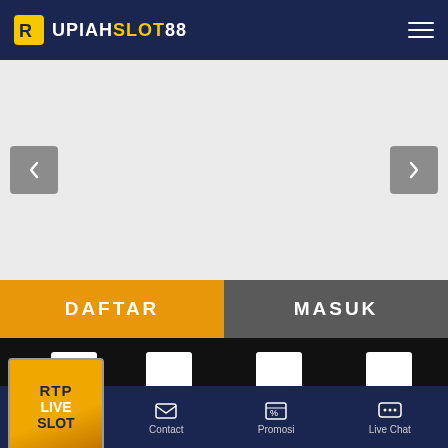RUPIAHSLOT88
[Figure (screenshot): Slider/carousel area with light gray background, left and right navigation arrows]
DAFTAR
MASUK
[Figure (screenshot): Category grid with icons: ES, SLOTS, CASINO, SPORTS and second row of icons. RTP LIVE SLOT badge overlay on left.]
Beranda  Contact  Promosi  Live Chat